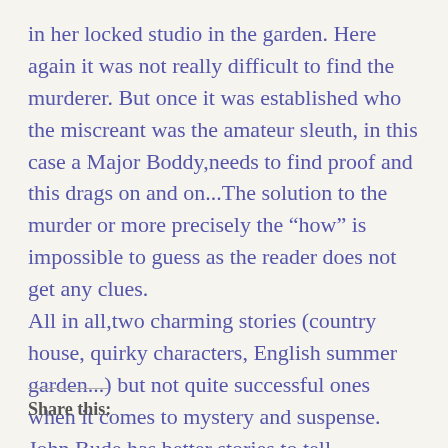in her locked studio in the garden. Here again it was not really difficult to find the murderer. But once it was established who the miscreant was the amateur sleuth, in this case a Major Boddy,needs to find proof and this drags on and on...The solution to the murder or more precisely the “how” is impossible to guess as the reader does not get any clues.
All in all,two charming stories (country house, quirky characters, English summer garden...) but not quite successful ones when it comes to mystery and suspense.
John Bude has better stories to tell...
Share this: